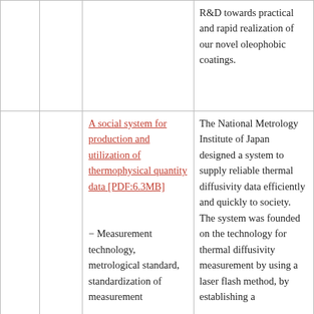|  |  |  | R&D towards practical and rapid realization of our novel oleophobic coatings. |
|  |  | A social system for production and utilization of thermophysical quantity data [PDF:6.3MB]

− Measurement technology, metrological standard, standardization of measurement | The National Metrology Institute of Japan designed a system to supply reliable thermal diffusivity data efficiently and quickly to society. The system was founded on the technology for thermal diffusivity measurement by using a laser flash method, by establishing a |